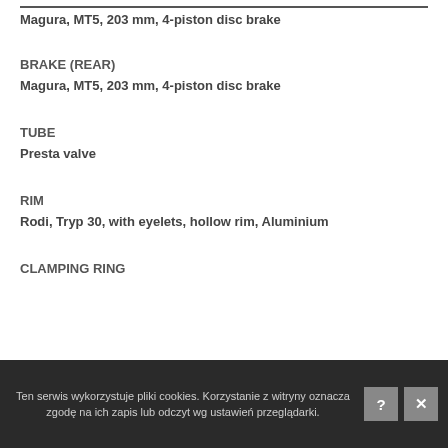Magura, MT5, 203 mm, 4-piston disc brake
BRAKE (REAR)
Magura, MT5, 203 mm, 4-piston disc brake
TUBE
Presta valve
RIM
Rodi, Tryp 30, with eyelets, hollow rim, Aluminium
CLAMPING RING
Ten serwis wykorzystuje pliki cookies. Korzystanie z witryny oznacza zgodę na ich zapis lub odczyt wg ustawień przeglądarki.